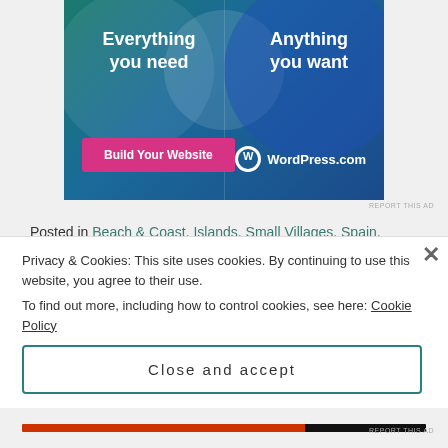[Figure (illustration): WordPress.com advertisement banner with teal-blue gradient background, two overlapping circles, text 'Everything you need' and 'Anything you want', a pink 'Build Your Website' button, and WordPress.com logo]
Posted in Beach & Coast, Islands, Small Villages, Spain, Travel
Tagged baleric islands, beach and mountains, beach sunset, beaches, beauty, cala s'alumnia, clear water, coves, driving in mountains, hidden beaches, island, Majorca, Mallorca, mallorca in
Privacy & Cookies: This site uses cookies. By continuing to use this website, you agree to their use.
To find out more, including how to control cookies, see here: Cookie Policy
Close and accept